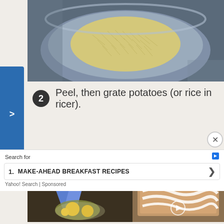[Figure (photo): Riced or grated potatoes in a metal bowl on a granite countertop, viewed from above]
2  Peel, then grate potatoes (or rice in ricer).
[Figure (photo): Eggs being cracked or mixed in a bowl with a blue mixer/beater visible]
[Figure (photo): Video thumbnail showing Easiest Ever Cinnamon Rolls in a baking pan with frosting, with play button overlay]
AD
Search for
1. MAKE-AHEAD BREAKFAST RECIPES
Yahoo! Search | Sponsored